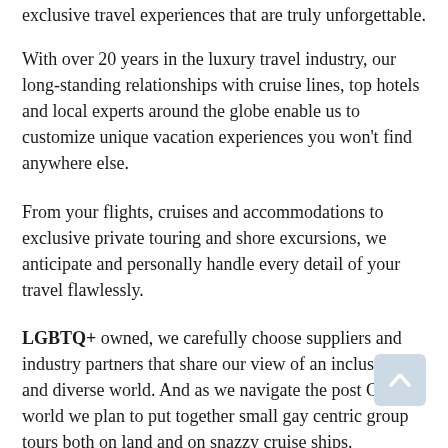exclusive travel experiences that are truly unforgettable.
With over 20 years in the luxury travel industry, our long-standing relationships with cruise lines, top hotels and local experts around the globe enable us to customize unique vacation experiences you won't find anywhere else.
From your flights, cruises and accommodations to exclusive private touring and shore excursions, we anticipate and personally handle every detail of your travel flawlessly.
LGBTQ+ owned, we carefully choose suppliers and industry partners that share our view of an inclusive and diverse world. And as we navigate the post Covid world we plan to put together small gay centric group tours both on land and on snazzy cruise ships.
Find some text...